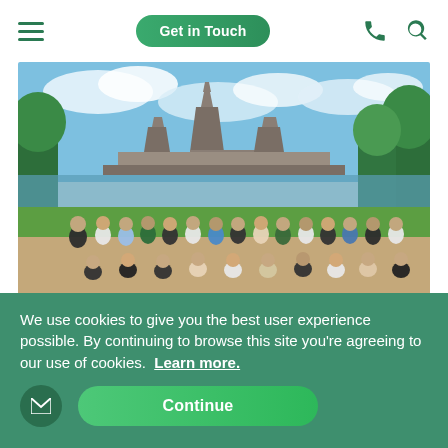Get in Touch
[Figure (photo): Large group of students and tour leaders posing in front of Angkor Wat temple complex in Cambodia, with green trees and a reflecting pool in the background under a partly cloudy sky.]
We use cookies to give you the best user experience possible. By continuing to browse this site you're agreeing to our use of cookies. Learn more.
Continue